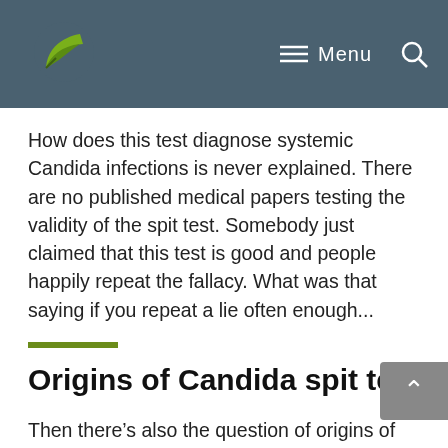Menu
How does this test diagnose systemic Candida infections is never explained. There are no published medical papers testing the validity of the spit test. Somebody just claimed that this test is good and people happily repeat the fallacy. What was that saying if you repeat a lie often enough...
Origins of Candida spit test
Then there’s also the question of origins of Candida spit test. As you can imagine it wasn’t invented by scientists or doctors to study Candida. It was devised by a company called ThreeLac as a way to sell their probiotic supplements.